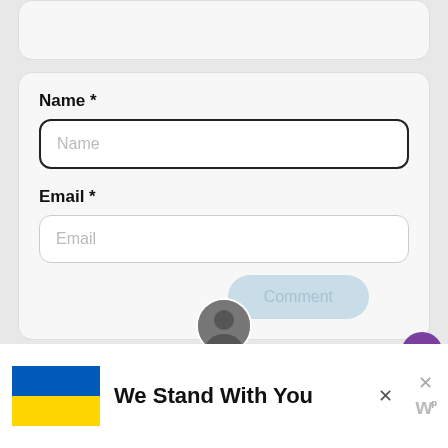[Figure (screenshot): Top card partial view (truncated at top)]
Name *
[Figure (screenshot): Name input field with placeholder text 'Name']
Email *
[Figure (screenshot): Email input field with placeholder text 'Email']
[Figure (screenshot): Comment button (light blue, rounded)]
[Figure (screenshot): Heart/like button (purple circle) with count 1, and share button below]
[Figure (screenshot): Ukraine flag banner at bottom: 'We Stand With You']